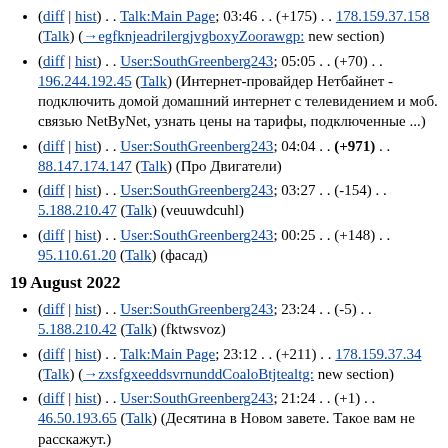(diff | hist) . . Talk:Main Page; 03:46 . . (+175) . . 178.159.37.158 (Talk) (→egfknjeadrilergjvgboxyZoorawgp: new section)
(diff | hist) . . User:SouthGreenberg243; 05:05 . . (+70) . . 196.244.192.45 (Talk) (Интернет-провайдер Нетбайнет - подключить домой домашний интернет с телевидением и моб. связью NetByNet, узнать цены на тарифы, подключенные ...)
(diff | hist) . . User:SouthGreenberg243; 04:04 . . (+971) . . 88.147.174.147 (Talk) (Про Двигатели)
(diff | hist) . . User:SouthGreenberg243; 03:27 . . (-154) . . 5.188.210.47 (Talk) (veuuwdcuhl)
(diff | hist) . . User:SouthGreenberg243; 00:25 . . (+148) . . 95.110.61.20 (Talk) (фасад)
19 August 2022
(diff | hist) . . User:SouthGreenberg243; 23:24 . . (-5) . . 5.188.210.42 (Talk) (fktwsvoz)
(diff | hist) . . Talk:Main Page; 23:12 . . (+211) . . 178.159.37.34 (Talk) (→zxsfgxeeddsvrnunddCoaloBtjtealtg: new section)
(diff | hist) . . User:SouthGreenberg243; 21:24 . . (+1) . . 46.50.193.65 (Talk) (Десятина в Новом завете. Такое вам не расскажут.)